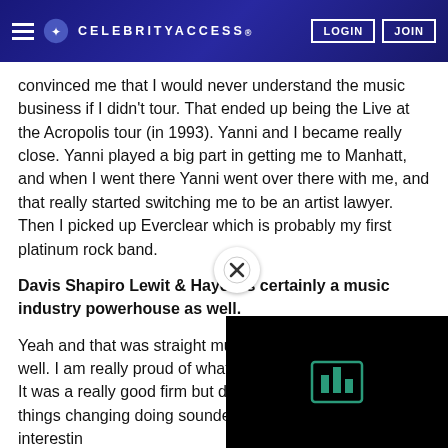CELEBRITYACCESS. LOGIN JOIN
convinced me that I would never understand the music business if I didn't tour. That ended up being the Live at the Acropolis tour (in 1993). Yanni and I became really close. Yanni played a big part in getting me to Manhatt, and when I went there Yanni went over there with me, and that really started switching me to be an artist lawyer. Then I picked up Everclear which is probably my first platinum rock band.
Davis Shapiro Lewit & Hayes is certainly a music industry powerhouse as well.
Yeah and that was straight music talent as well. I am really proud of what we built there. It was a really good firm but definitely I saw things changing doing sounded pretty interestin
Do you miss the legal world at
I still do all of our high-level leg